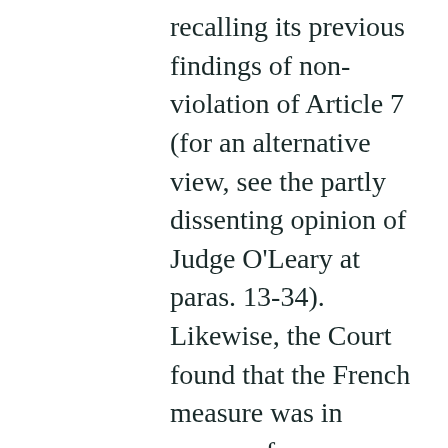recalling its previous findings of non-violation of Article 7 (for an alternative view, see the partly dissenting opinion of Judge O'Leary at paras. 13-34). Likewise, the Court found that the French measure was in pursue of a legitimate aim, that is protecting the commercial rights of the producers or the suppliers of products coming from Israel (para. 60). However, such a restriction was not necessary in a democratic society, and thus amounted to a violation of Article 10. In reaching this outcome, the Court recalled the principles repeated in the 2013 Perinçek v. Switzerland judgement (commented here), where it held